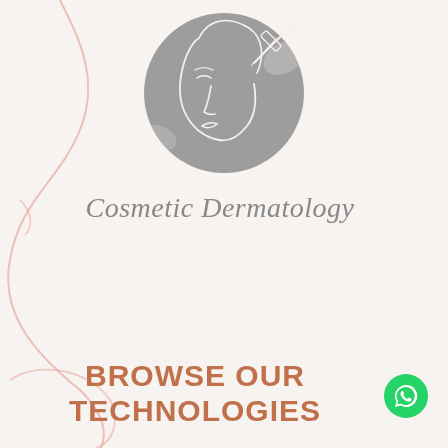[Figure (logo): Circular dark gray brushstroke logo with minimalist line-art face illustration and needle/syringe, for Cosmetic Dermatology]
Cosmetic Dermatology
Book an Appointment
BROWSE OUR TECHNOLOGIES